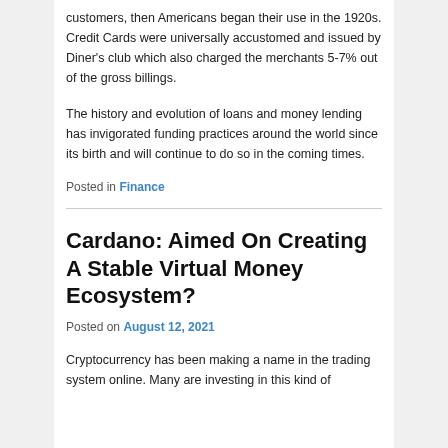customers, then Americans began their use in the 1920s. Credit Cards were universally accustomed and issued by Diner's club which also charged the merchants 5-7% out of the gross billings.
The history and evolution of loans and money lending has invigorated funding practices around the world since its birth and will continue to do so in the coming times.
Posted in Finance
Cardano: Aimed On Creating A Stable Virtual Money Ecosystem?
Posted on August 12, 2021
Cryptocurrency has been making a name in the trading system online. Many are investing in this kind of